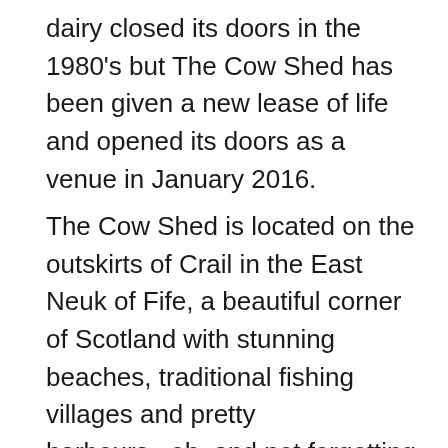dairy closed its doors in the 1980's but The Cow Shed has been given a new lease of life and opened its doors as a venue in January 2016.
The Cow Shed is located on the outskirts of Crail in the East Neuk of Fife, a beautiful corner of Scotland with stunning beaches, traditional fishing villages and pretty harbours...oh, and not forgetting a huge selection of golf courses too! The Cow Shed is full of original features, character and enjoys sea views across the Firth of Forth to the Bass Rock and East Lothian – the perfect backdrop